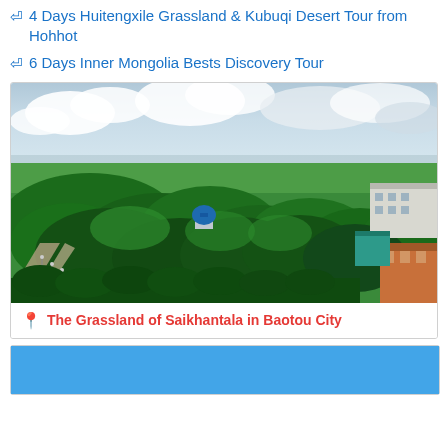4 Days Huitengxile Grassland & Kubuqi Desert Tour from Hohhot
6 Days Inner Mongolia Bests Discovery Tour
[Figure (photo): Aerial view of the Grassland of Saikhantala in Baotou City, showing lush green forests and trees, a road with streetlights, buildings on the right including a red-roofed structure, a blue domed building in the middle distance, and cloudy sky above.]
The Grassland of Saikhantala in Baotou City
[Figure (photo): Blue sky partial view, bottom of page, cropped blue card area.]